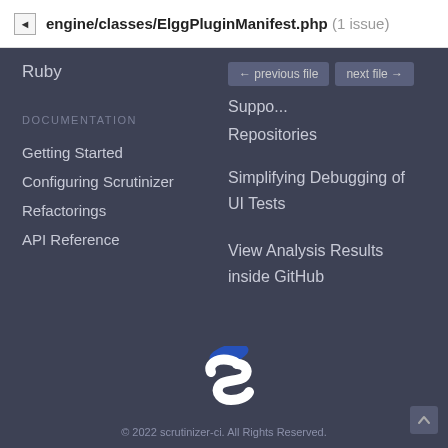engine/classes/ElggPluginManifest.php (1 issue)
Ruby
DOCUMENTATION
Getting Started
Configuring Scrutinizer
Refactorings
API Reference
← previous file
next file →
Suppo... Repositories
Simplifying Debugging of UI Tests
View Analysis Results inside GitHub
[Figure (logo): Scrutinizer-CI logo, a stylized letter S in white on dark background with blue accent]
© 2022 scrutinizer-ci. All Rights Reserved.